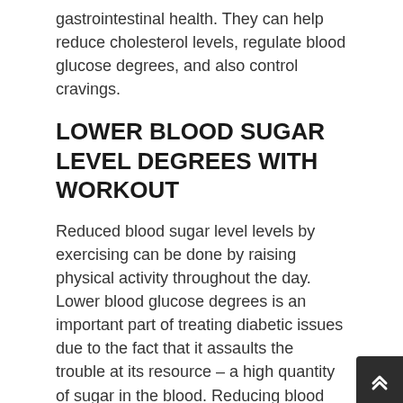gastrointestinal health. They can help reduce cholesterol levels, regulate blood glucose degrees, and also control cravings.
LOWER BLOOD SUGAR LEVEL DEGREES WITH WORKOUT
Reduced blood sugar level levels by exercising can be done by raising physical activity throughout the day. Lower blood glucose degrees is an important part of treating diabetic issues due to the fact that it assaults the trouble at its resource – a high quantity of sugar in the blood. Reducing blood glucose degrees enables diabetics to better control how much or just how little insulin their body produces.
By exercising more, including cardio or weight training, diabetics can lower their blood glucose levels. Reduced blood sugar level levels is feasible